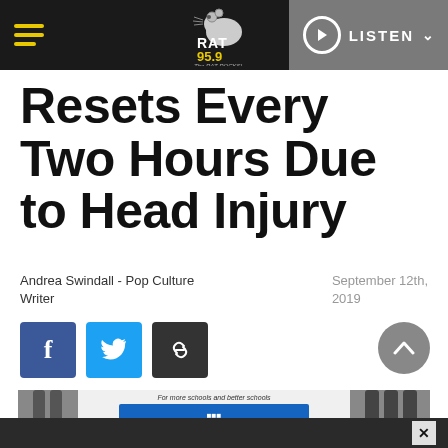RAT 95.9 The RAT ROCKS! — LISTEN
Resets Every Two Hours Due to Head Injury
Andrea Swindall - Pop Culture Writer
September 12th, 2019
[Figure (screenshot): Social sharing buttons: Facebook, Twitter, link/copy. Scroll-to-top button on right.]
[Figure (photo): Partial article image showing pants/clothing and a blue banner reading 'For more schools and better schools']